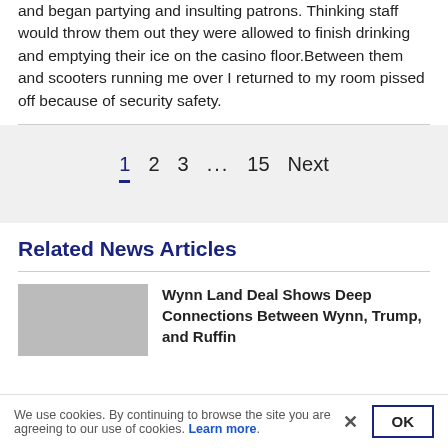and began partying and insulting patrons. Thinking staff would throw them out they were allowed to finish drinking and emptying their ice on the casino floor. Between them and scooters running me over I returned to my room pissed off because of security safety.
1  2  3  ...  15  Next
Related News Articles
Wynn Land Deal Shows Deep Connections Between Wynn, Trump, and Ruffin
We use cookies. By continuing to browse the site you are agreeing to our use of cookies. Learn more.